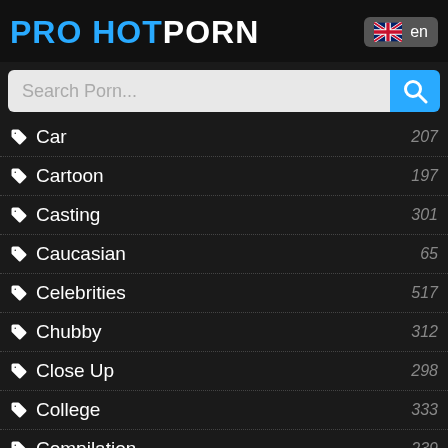PRO HOTPORN
Car 207
Cartoon 197
Casting 301
Caucasian 65
Celebrities 517
Chubby 312
Close Up 298
College 333
Compilation 239
Couple 329